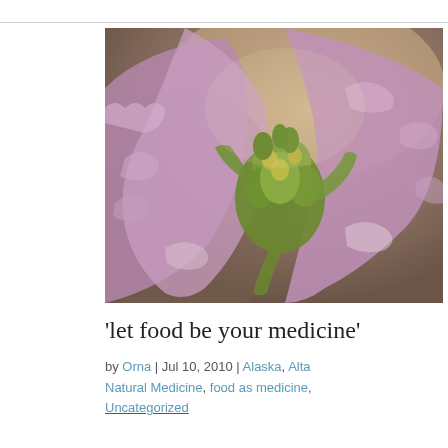[Figure (photo): Close-up macro photograph of ornamental kale or flowering brassica plant with purple-pink ruffled leaves and green flower buds in the center, on a warm brown blurred background.]
'let food be your medicine'
by Orna | Jul 10, 2010 | Alaska, Alta Natural Medicine, food as medicine, Uncategorized